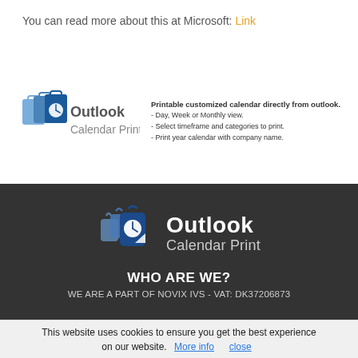You can read more about this at Microsoft: Link
[Figure (logo): Outlook Calendar Print logo — small version with icon and text]
Printable customized calendar directly from outlook.
- Day, Week or Monthly view.
- Select timeframe and categories to print.
- Print year calendar with company name.
[Figure (logo): Outlook Calendar Print logo — large white version on dark background]
WHO ARE WE?
WE ARE A PART OF NOVIX IVS - VAT: DK37206873
This website uses cookies to ensure you get the best experience on our website.  More info   close